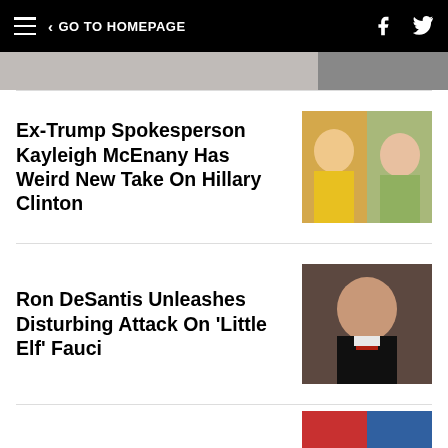GO TO HOMEPAGE
Ex-Trump Spokesperson Kayleigh McEnany Has Weird New Take On Hillary Clinton
Ron DeSantis Unleashes Disturbing Attack On 'Little Elf' Fauci